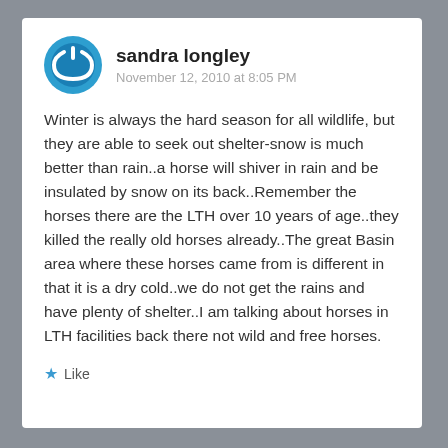[Figure (logo): Blue circular power button icon avatar for user sandra longley]
sandra longley
November 12, 2010 at 8:05 PM
Winter is always the hard season for all wildlife, but they are able to seek out shelter-snow is much better than rain..a horse will shiver in rain and be insulated by snow on its back..Remember the horses there are the LTH over 10 years of age..they killed the really old horses already..The great Basin area where these horses came from is different in that it is a dry cold..we do not get the rains and have plenty of shelter..I am talking about horses in LTH facilities back there not wild and free horses.
Like